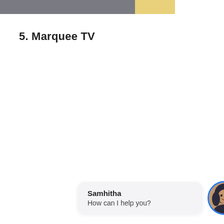5. Marquee TV
[Figure (other): Chat widget showing avatar of a person named Samhitha with message 'How can I help you?']